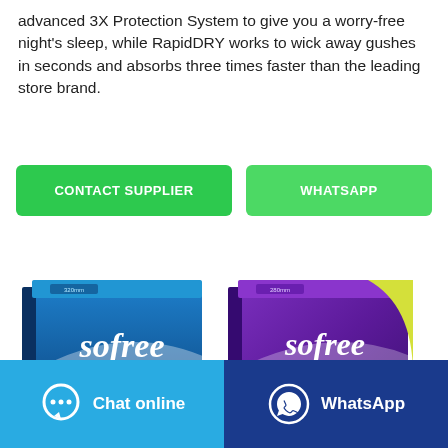advanced 3X Protection System to give you a worry-free night's sleep, while RapidDRY works to wick away gushes in seconds and absorbs three times faster than the leading store brand.
[Figure (other): Two green buttons side by side: 'CONTACT SUPPLIER' on the left and 'WHATSAPP' on the right]
[Figure (photo): Two product boxes of 'sofree Sanitary Pad Fast absorption' — one blue box (320mm, 8 pads) on the left and one purple/yellow box (280mm, 10 pads) on the right, each showing a sanitary pad and the 'Air' branding]
[Figure (other): Bottom bar with two buttons: 'Chat online' (light blue with chat bubble icon) on the left and 'WhatsApp' (dark blue with WhatsApp icon) on the right]